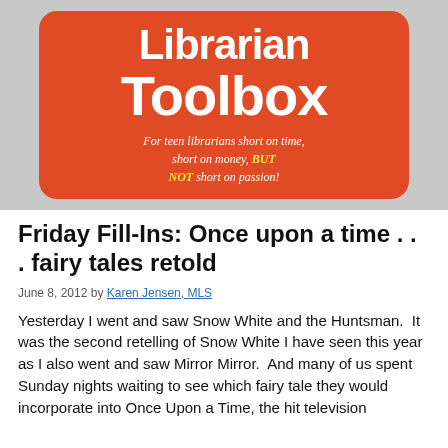[Figure (logo): Teen Librarian Toolbox logo — orange rounded rectangle with white bold text reading 'Librarian Toolbox' and italic subtitle 'For teen librarians short on time, short on money, BUT NOT short on passion!' on a gray background]
Friday Fill-Ins: Once upon a time . . . fairy tales retold
June 8, 2012 by Karen Jensen, MLS
Yesterday I went and saw Snow White and the Huntsman.  It was the second retelling of Snow White I have seen this year as I also went and saw Mirror Mirror.  And many of us spent Sunday nights waiting to see which fairy tale they would incorporate into Once Upon a Time, the hit television